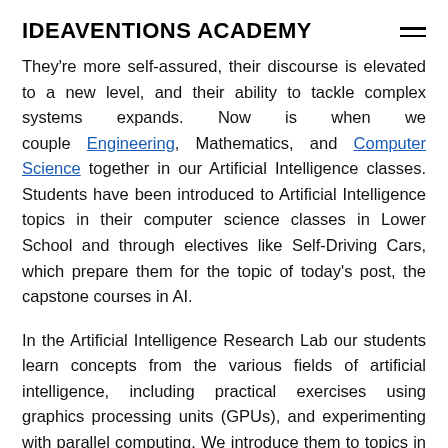IDEAVENTIONS ACADEMY
They're more self-assured, their discourse is elevated to a new level, and their ability to tackle complex systems expands. Now is when we couple Engineering, Mathematics, and Computer Science together in our Artificial Intelligence classes. Students have been introduced to Artificial Intelligence topics in their computer science classes in Lower School and through electives like Self-Driving Cars, which prepare them for the topic of today's post, the capstone courses in AI.
In the Artificial Intelligence Research Lab our students learn concepts from the various fields of artificial intelligence, including practical exercises using graphics processing units (GPUs), and experimenting with parallel computing. We introduce them to topics in machine learning such as learning theory, data preparation